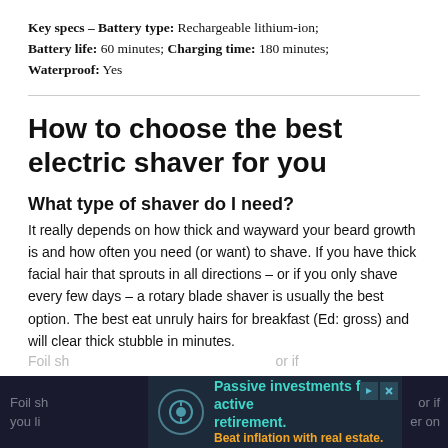Key specs – Battery type: Rechargeable lithium-ion; Battery life: 60 minutes; Charging time: 180 minutes; Waterproof: Yes
How to choose the best electric shaver for you
What type of shaver do I need?
It really depends on how thick and wayward your beard growth is and how often you need (or want) to shave. If you have thick facial hair that sprouts in all directions – or if you only shave every few days – a rotary blade shaver is usually the best option. The best eat unruly hairs for breakfast (Ed: gross) and will clear thick stubble in minutes.
Foil sh... or if you li... er on
[Figure (other): Advertisement banner: 'Passive investments for active retirement. Beat inflation with real estate.' with a circular logo icon and close/play controls.]